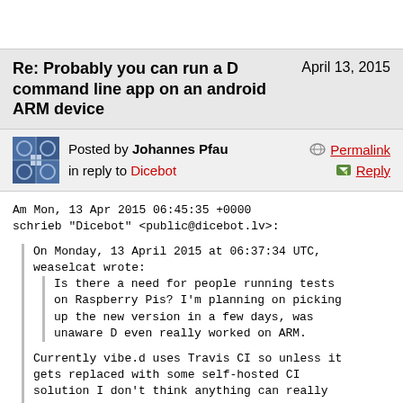Re: Probably you can run a D command line app on an android ARM device  April 13, 2015
Posted by Johannes Pfau in reply to Dicebot  Permalink  Reply
Am Mon, 13 Apr 2015 06:45:35 +0000 schrieb "Dicebot" <public@dicebot.lv>:

On Monday, 13 April 2015 at 06:37:34 UTC, weaselcat wrote:
Is there a need for people running tests on Raspberry Pis? I'm planning on picking up the new version in a few days, was unaware D even really worked on ARM.

Currently vibe.d uses Travis CI so unless it gets replaced with some self-hosted CI solution I don't think anything can really be done here right now. Well, apart from trying it out and reporting bugs if there are any :)